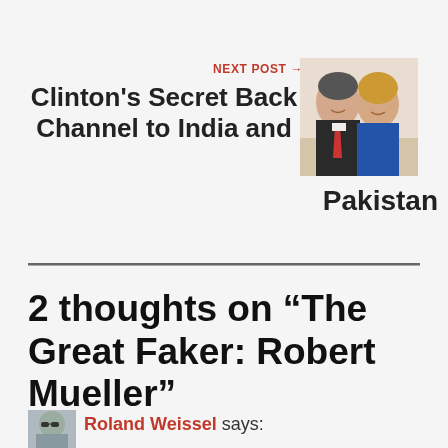NEXT POST →
Clinton's Secret Back Channel to India and Pakistan
[Figure (photo): Two people posing together, a man in a suit with a red tie and a woman in a blue top, smiling for the photo.]
2 thoughts on “The Great Faker: Robert Mueller”
[Figure (photo): Small avatar/profile picture of a person wearing sunglasses.]
Roland Weissel says: